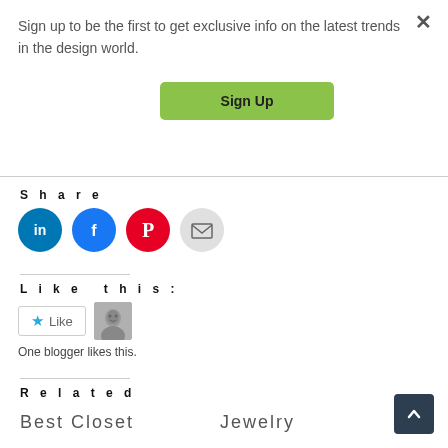Sign up to be the first to get exclusive info on the latest trends in the design world.
Sign Up
Share
[Figure (infographic): Four social share icon circles: LinkedIn (blue), Facebook (blue), Pinterest (red), Email (gray)]
Like this:
[Figure (infographic): Like button with star icon and blogger avatar thumbnail. Text: One blogger likes this.]
Related
Best Closet
Jewelry